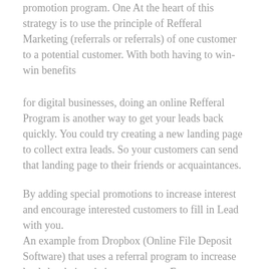promotion program. One At the heart of this strategy is to use the principle of Refferal Marketing (referrals or referrals) of one customer to a potential customer. With both having to win-win benefits
for digital businesses, doing an online Refferal Program is another way to get your leads back quickly. You could try creating a new landing page to collect extra leads. So your customers can send that landing page to their friends or acquaintances.
By adding special promotions to increase interest and encourage interested customers to fill in Lead with you.
An example from Dropbox (Online File Deposit Software) that uses a referral program to increase leads by their existing customers. Enter